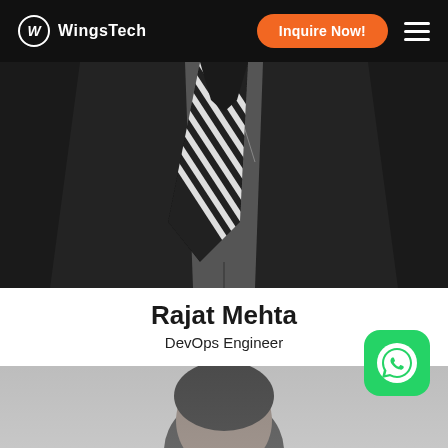WingsTech — Inquire Now!
[Figure (photo): Black and white photo showing close-up of a person's torso in a dark suit with a black and white diagonal striped tie]
Rajat Mehta
DevOps Engineer
[Figure (photo): Black and white portrait photo of person, head visible from top]
[Figure (logo): WhatsApp icon in green rounded square]